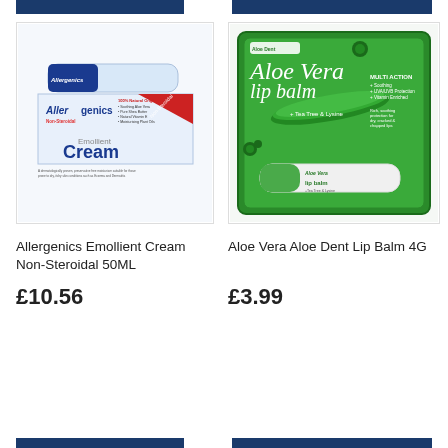[Figure (photo): Allergenics Emollient Cream Non-Steroidal 50ML product tube and box packaging]
Allergenics Emollient Cream Non-Steroidal 50ML
£10.56
[Figure (photo): Aloe Vera Aloe Dent Lip Balm 4G product in green packaging with lip balm stick]
Aloe Vera Aloe Dent Lip Balm 4G
£3.99